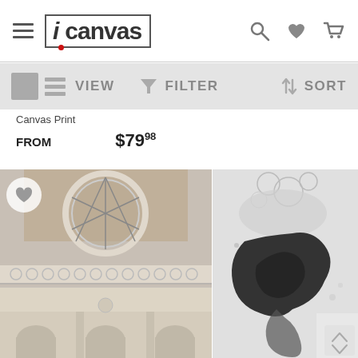[Figure (screenshot): iCanvas website header with hamburger menu, iCanvas logo, search icon, heart icon, and cart icon]
[Figure (screenshot): Toolbar with grid/list view toggle (VIEW), filter funnel icon (FILTER), and up/down arrows (SORT)]
Canvas Print
FROM $79.98
[Figure (photo): Architecture photo showing ornate facade of a classical building with arched windows, decorative friezes, and circular window detail]
[Figure (photo): Abstract ink or watercolor artwork in grayscale showing dark organic blob shapes on light background]